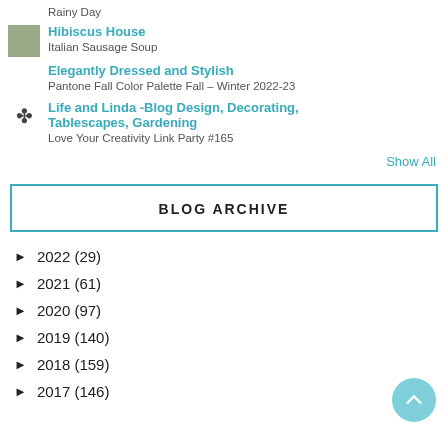Rainy Day
Hibiscus House
Italian Sausage Soup
Elegantly Dressed and Stylish
Pantone Fall Color Palette Fall – Winter 2022-23
Life and Linda -Blog Design, Decorating, Tablescapes, Gardening
Love Your Creativity Link Party #165
Show All
BLOG ARCHIVE
► 2022 (29)
► 2021 (61)
► 2020 (97)
► 2019 (140)
► 2018 (159)
► 2017 (146)